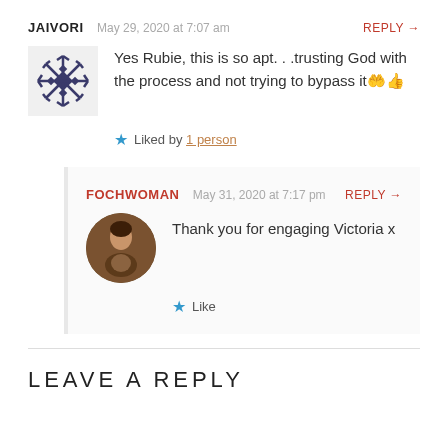JAIVORI   May 29, 2020 at 7:07 am   REPLY →
Yes Rubie, this is so apt...trusting God with the process and not trying to bypass it 👏👍
★ Liked by 1 person
FOCHWOMAN   May 31, 2020 at 7:17 pm   REPLY →
Thank you for engaging Victoria x
★ Like
LEAVE A REPLY